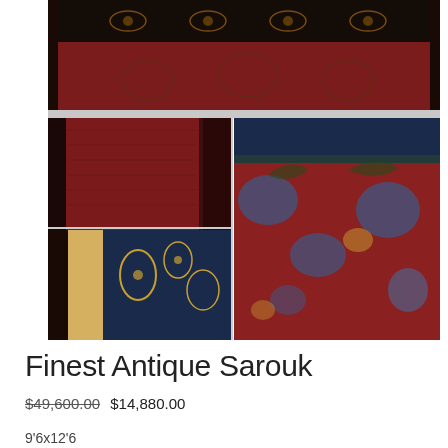[Figure (photo): Collection of antique Sarouk rug photos: one wide horizontal image on top showing the rug's dark border with floral patterns, two smaller images on the left showing detail views, and one large image on the right showing the full rug field with red background and blue/gold floral medallions]
Finest Antique Sarouk
$49,600.00 $14,880.00
9'6x12'6